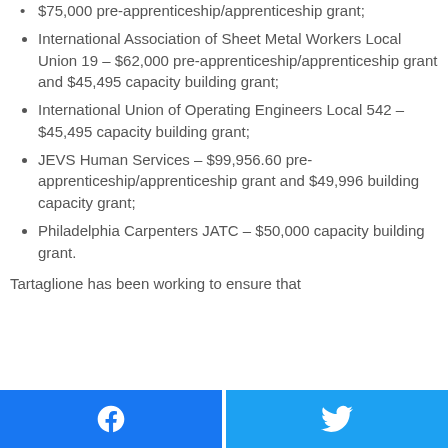Insulators and Allied Workers Local #14 – $75,000 pre-apprenticeship/apprenticeship grant;
International Association of Sheet Metal Workers Local Union 19 – $62,000 pre-apprenticeship/apprenticeship grant and $45,495 capacity building grant;
International Union of Operating Engineers Local 542 – $45,495 capacity building grant;
JEVS Human Services – $99,956.60 pre-apprenticeship/apprenticeship grant and $49,996 building capacity grant;
Philadelphia Carpenters JATC – $50,000 capacity building grant.
Tartaglione has been working to ensure that